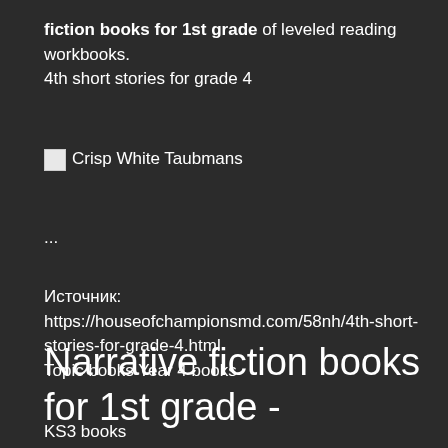fiction books for 1st grade of leveled reading workbooks. 4th short stories for grade 4
[Figure (illustration): Broken image placeholder labeled 'Crisp White Taubmans']
...
Источник: https://houseofchampionsmd.com/58nh/4th-short-stories-for-grade-4.html
Topic books Year 4 books
Narrative fiction books for 1st grade -
KS3 books